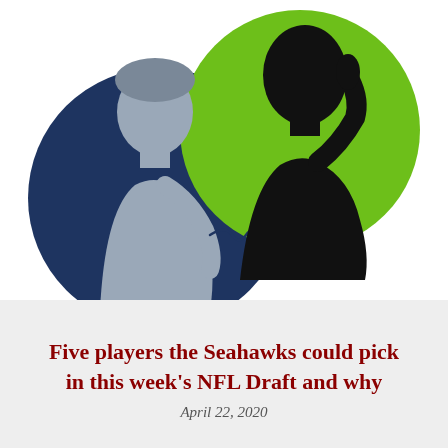[Figure (illustration): Two overlapping circles: a dark navy blue circle on the left containing a grey silhouette of a person on a phone, and a bright green circle on the right containing a black silhouette of a person holding a phone to their ear. A wavy line connects the two figures, suggesting a phone call between two people.]
Five players the Seahawks could pick in this week's NFL Draft and why
April 22, 2020